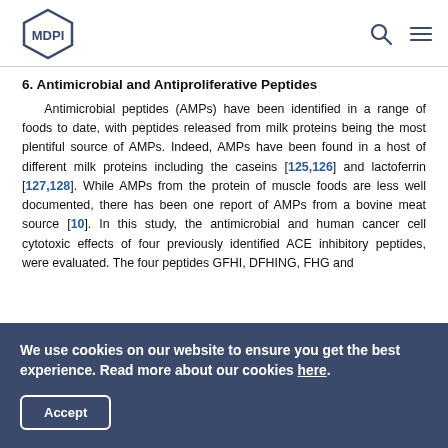MDPI
6. Antimicrobial and Antiproliferative Peptides
Antimicrobial peptides (AMPs) have been identified in a range of foods to date, with peptides released from milk proteins being the most plentiful source of AMPs. Indeed, AMPs have been found in a host of different milk proteins including the caseins [125,126] and lactoferrin [127,128]. While AMPs from the protein of muscle foods are less well documented, there has been one report of AMPs from a bovine meat source [10]. In this study, the antimicrobial and human cancer cell cytotoxic effects of four previously identified ACE inhibitory peptides, were evaluated. The four peptides GFHI, DFHING, FHG and
We use cookies on our website to ensure you get the best experience. Read more about our cookies here.
Accept